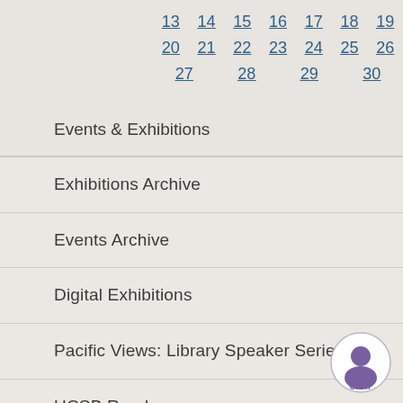13 14 15 16 17 18 19
20 21 22 23 24 25 26
27 28 29 30
Events & Exhibitions
Exhibitions Archive
Events Archive
Digital Exhibitions
Pacific Views: Library Speaker Series
UCSB Reads